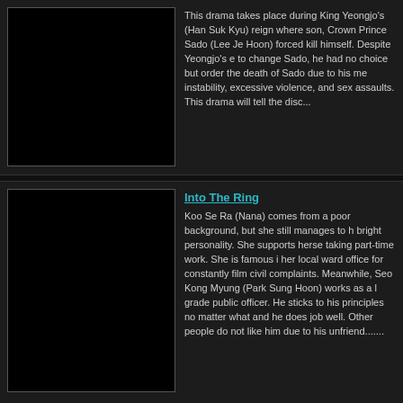[Figure (photo): Thumbnail placeholder for first drama (black rectangle with gray border)]
This drama takes place during King Yeongjo's (Han Suk Kyu) reign where son, Crown Prince Sado (Lee Je Hoon) forced kill himself. Despite Yeongjo's e to change Sado, he had no choice but order the death of Sado due to his me instability, excessive violence, and sex assaults. This drama will tell the disc...
Into The Ring
[Figure (photo): Thumbnail placeholder for Into The Ring drama (black rectangle with gray border)]
Koo Se Ra (Nana) comes from a poor background, but she still manages to h bright personality. She supports herse taking part-time work. She is famous i her local ward office for constantly film civil complaints. Meanwhile, Seo Kong Myung (Park Sung Hoon) works as a l grade public officer. He sticks to his principles no matter what and he does job well. Other people do not like him due to his unfriend.......